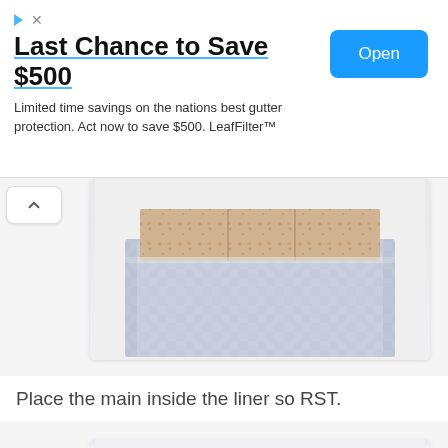[Figure (other): Advertisement banner: 'Last Chance to Save $500' with Open button. Limited time savings on the nations best gutter protection. Act now to save $500. LeafFilter™]
[Figure (photo): Photo of a fabric bag/liner showing patterned fabric (food/kitchen prints) folded inside a blue-grey gingham checkered fabric bag, viewed from above on white surface.]
Place the main inside the liner so RST.
[Figure (photo): Photo of blue-grey gingham checkered fabric folded flat on white surface, showing the liner fabric with patterned fabric peeking at the top edge.]